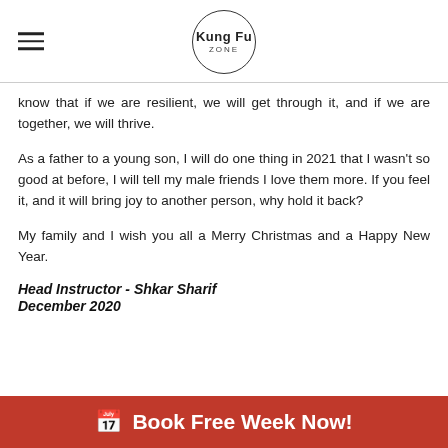Kung Fu ZONE
know that if we are resilient, we will get through it, and if we are together, we will thrive.
As a father to a young son, I will do one thing in 2021 that I wasn't so good at before, I will tell my male friends I love them more. If you feel it, and it will bring joy to another person, why hold it back?
My family and I wish you all a Merry Christmas and a Happy New Year.
Head Instructor - Shkar Sharif
December 2020
Like 31   Tweet   1 Comment
Book Free Week Now!